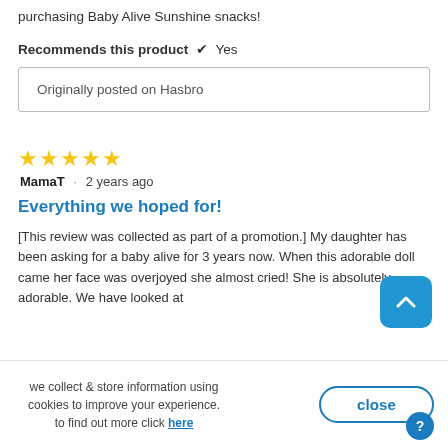purchasing Baby Alive Sunshine snacks!
Recommends this product ✔ Yes
Originally posted on Hasbro
★★★★★
MamaT · 2 years ago
Everything we hoped for!
[This review was collected as part of a promotion.] My daughter has been asking for a baby alive for 3 years now. When this adorable doll came her face was overjoyed she almost cried! She is absolutely adorable. We have looked at
we collect & store information using cookies to improve your experience. to find out more click here
close